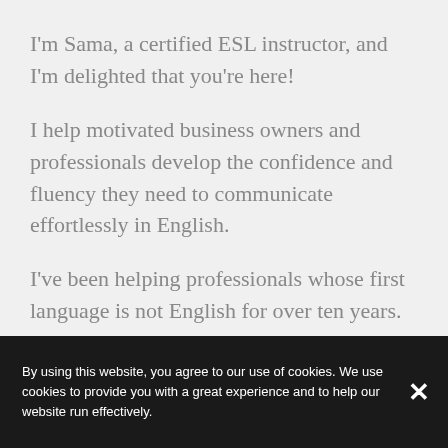I'm Sama, a certified ESL instructor, and I'm delighted that you're here!
I help motivated business owners and professionals develop the confidence and fluency they need to communicate effortlessly in English.
I've been helping professionals whose first language is not English for over ten years.
By using this website, you agree to our use of cookies. We use cookies to provide you with a great experience and to help our website run effectively.